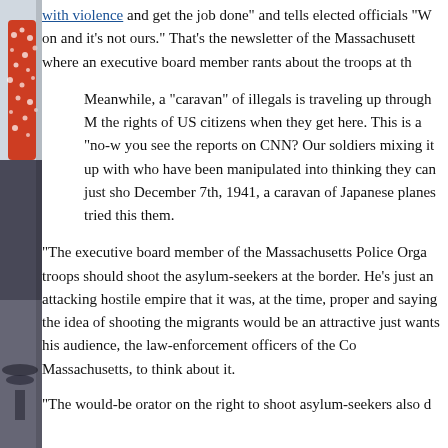[Figure (photo): Partial view of a figure/person on the left edge of the page, showing red and white patterned clothing and what appears to be a dark background with a blurred aircraft or vehicle at the bottom.]
with violence and get the job done" and tells elected officials "W on and it's not ours." That's the newsletter of the Massachusett where an executive board member rants about the troops at th
Meanwhile, a "caravan" of illegals is traveling up through M the rights of US citizens when they get here. This is a "no-w you see the reports on CNN? Our soldiers mixing it up with who have been manipulated into thinking they can just sho December 7th, 1941, a caravan of Japanese planes tried this them.
"The executive board member of the Massachusetts Police Orga troops should shoot the asylum-seekers at the border. He's just an attacking hostile empire that it was, at the time, proper and saying the idea of shooting the migrants would be an attractive just wants his audience, the law-enforcement officers of the Co Massachusetts, to think about it.
"The would-be orator on the right to shoot asylum-seekers also d